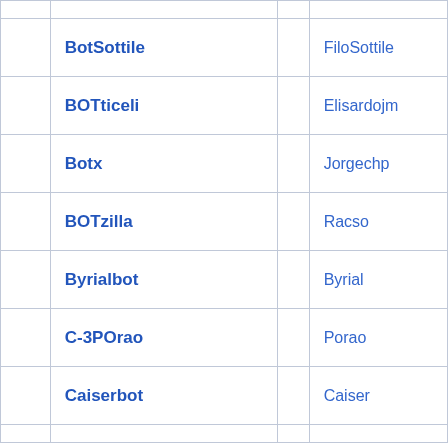|  | Bot name |  | Owner |
| --- | --- | --- | --- |
|  | BotSottile |  | FiloSottile |
|  | BOTticeli |  | Elisardojm |
|  | Botx |  | Jorgechp |
|  | BOTzilla |  | Racso |
|  | Byrialbot |  | Byrial |
|  | C-3POrao |  | Porao |
|  | Caiserbot |  | Caiser |